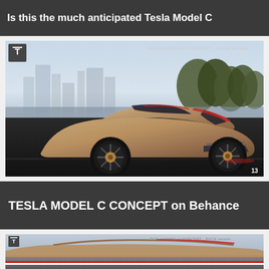Is this the much anticipated Tesla Model C
[Figure (photo): Tesla Model C Concept - RACE version, rear three-quarter view of a futuristic bronze/gold sports car on a dark road with city skyline and trees in background. Tesla logo top left, 'TESLA MODEL C CONCEPT - RACE version' text top right. Number '13' in bottom right corner.]
TESLA MODEL C CONCEPT on Behance
[Figure (photo): Tesla Model C Concept - RACE version partial view, showing side profile of the car on a road. Tesla logo top left, 'TESLA MODEL C CONCEPT - RACE version' text top right.]